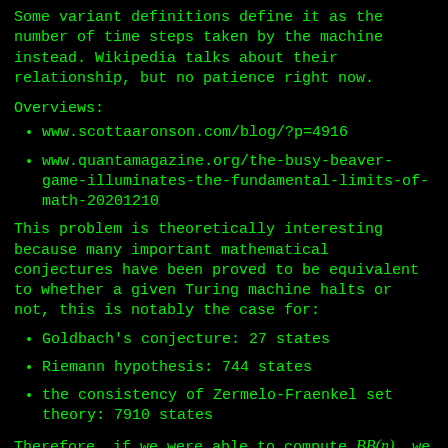Some variant definitions define it as the number of time steps taken by the machine instead. Wikipedia talks about their relationship, but no patience right now.
Overviews:
www.scottaaronson.com/blog/?p=4916
www.quantamagazine.org/the-busy-beaver-game-illuminates-the-fundamental-limits-of-math-20201210
This problem is theoretically interesting because many important mathematical conjectures have been proved to be equivalent to whether a given Turing machine halts or not, this is notably the case for:
Goldbach's conjecture: 27 states
Riemann hypothesis: 744 states
the consistency of Zermelo-Fraenkel set theory: 7910 states
Therefore, if we were able to compute BB(n), we would be able to prove those conjectures automatically, by letting the